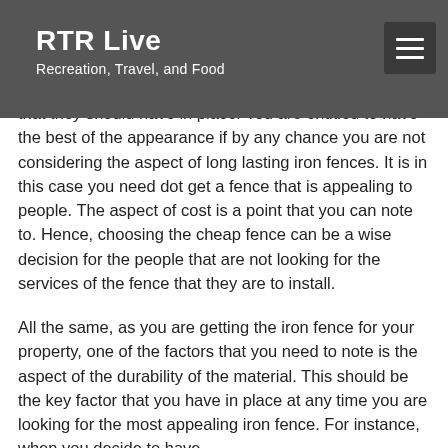RTR Live
Recreation, Travel, and Food
As you get the best case of the iron fence; there is the choice of those that resist corrosion that you should select. There are people in search of the fences that can stay for long in services and thus this is the right choice that they should have in place. You are entitled to have the best of the appearance if by any chance you are not considering the aspect of long lasting iron fences. It is in this case you need dot get a fence that is appealing to people. The aspect of cost is a point that you can note to. Hence, choosing the cheap fence can be a wise decision for the people that are not looking for the services of the fence that they are to install.
All the same, as you are getting the iron fence for your property, one of the factors that you need to note is the aspect of the durability of the material. This should be the key factor that you have in place at any time you are looking for the most appealing iron fence. For instance, when you decide to have the use of the most durable iron fence, you are entitled to...